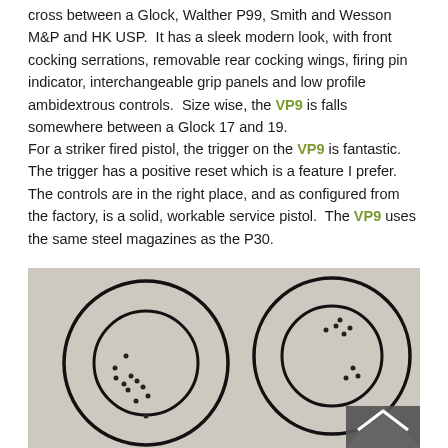cross between a Glock, Walther P99, Smith and Wesson M&P and HK USP.  It has a sleek modern look, with front cocking serrations, removable rear cocking wings, firing pin indicator, interchangeable grip panels and low profile ambidextrous controls.  Size wise, the VP9 is falls somewhere between a Glock 17 and 19.
For a striker fired pistol, the trigger on the VP9 is fantastic.  The trigger has a positive reset which is a feature I prefer.  The controls are in the right place, and as configured from the factory, is a solid, workable service pistol.  The VP9 uses the same steel magazines as the P30.
[Figure (photo): Two shooting targets (paper bullseye targets) side by side on a light gray background. Left target shows two concentric circles with scattered bullet holes clustered in the lower-left area of the inner circle. Right target shows two concentric circles with bullet holes scattered in the upper area and right side of the inner circle. A dark triangular arrow/chevron overlay appears in the bottom-right corner of the image.]